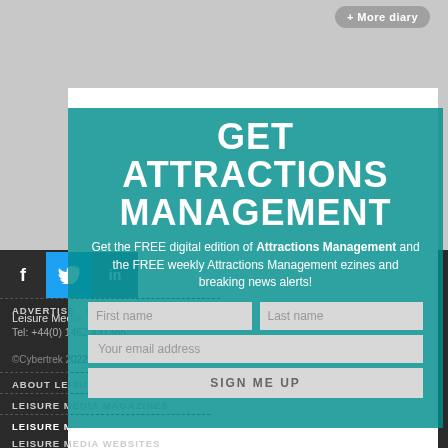+ More diary
[Figure (screenshot): Social media icons: Facebook (f), Twitter (bird), LinkedIn (in)]
GET ATTRACTIONS MANAGEMENT
Get the FREE digital edition of Attractions Management and the FREE weekly Attractions Management ezines and breaking news alerts!
ADVERTISE  CONTACT US
Leisure Media
Tel: +44(0) 1462 431385
©Cybertrek 2022
ABOUT LEISURE MEDIA
LEISURE MEDIA MAGAZINES
LEISURE MEDIA HANDBOOKS
LEISURE MEDIA WEBSITES